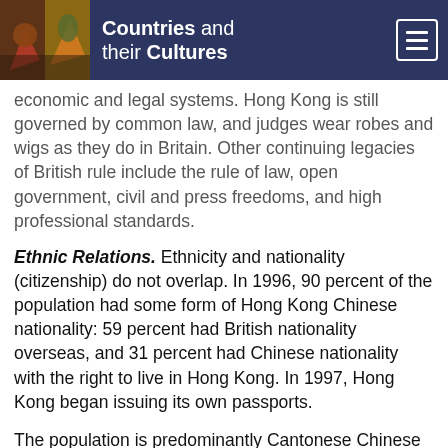Countries and their Cultures
economic and legal systems. Hong Kong is still governed by common law, and judges wear robes and wigs as they do in Britain. Other continuing legacies of British rule include the rule of law, open government, civil and press freedoms, and high professional standards.
Ethnic Relations. Ethnicity and nationality (citizenship) do not overlap. In 1996, 90 percent of the population had some form of Hong Kong Chinese nationality: 59 percent had British nationality overseas, and 31 percent had Chinese nationality with the right to live in Hong Kong. In 1997, Hong Kong began issuing its own passports.
The population is predominantly Cantonese Chinese from the counties of the Pearl River Delta and Guangzhou. A small minority are of Shanghainese, Hokkien (southern Fujian), and Boat People ("Tanka") descent. The younger generation tends to ignore these origins.
Only a small percentage of people claim long descent in the